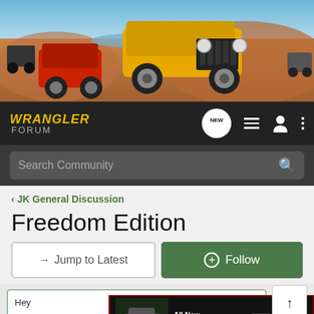[Figure (photo): Hero banner showing Jeep Wrangler vehicles on desert off-road terrain with reddish rock formations and blue sky]
WRANGLER FORUM
Search Community
< JK General Discussion
Freedom Edition
→ Jump to Latest
+ Follow
Hey
Aug
[Figure (photo): Nitto All-New Nomad Grappler Crossover-Terrain Tire advertisement banner with dark background and vehicle image]